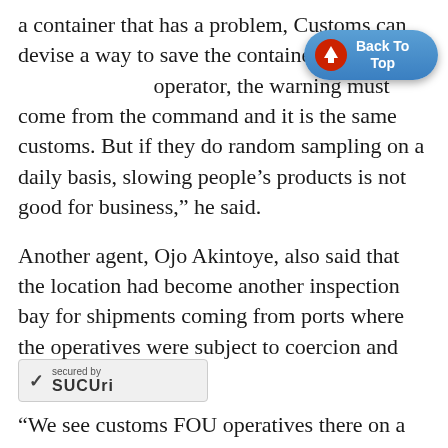a container that has a problem, Customs can devise a way to save the container from being [Back To Top button] operator, the warning must come from the command and it is the same customs. But if they do random sampling on a daily basis, slowing people’s products is not good for business,” he said.
Another agent, Ojo Akintoye, also said that the location had become another inspection bay for shipments coming from ports where the operatives were subject to coercion and extortion.
“We see customs FOU operatives there on a regular basis and the worst part of it is that the site has become their permanent site amid the gridlocked road [secured by Sucuri] sidents are facing on a daily basis. It [Sucuri badge] ction bay for shipments coming out